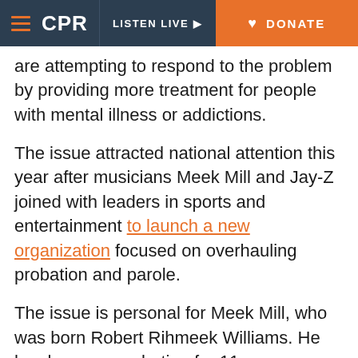CPR | LISTEN LIVE | DONATE
are attempting to respond to the problem by providing more treatment for people with mental illness or addictions.
The issue attracted national attention this year after musicians Meek Mill and Jay-Z joined with leaders in sports and entertainment to launch a new organization focused on overhauling probation and parole.
The issue is personal for Meek Mill, who was born Robert Rihmeek Williams. He has been on probation for 11 years, starting with a conviction on gun and drug charges that sent him cycling back into the justice system after repeated technical violations.